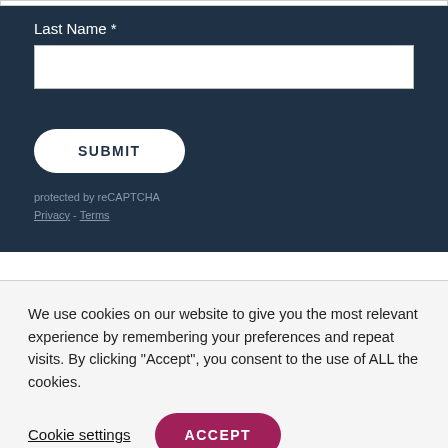Last Name *
SUBMIT
protected by reCAPTCHA Privacy - Terms
We use cookies on our website to give you the most relevant experience by remembering your preferences and repeat visits. By clicking “Accept”, you consent to the use of ALL the cookies.
Cookie settings
ACCEPT